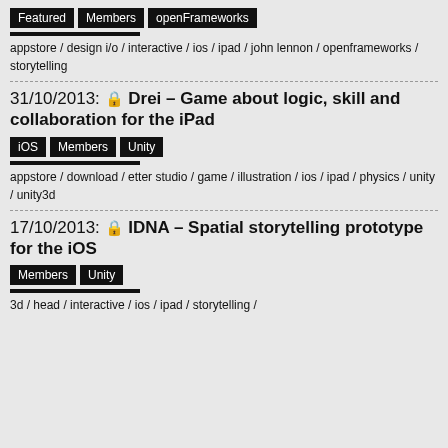Featured | Members | openFrameworks
appstore / design i/o / interactive / ios / ipad / john lennon / openframeworks / storytelling
31/10/2013: [lock] Drei – Game about logic, skill and collaboration for the iPad
iOS | Members | Unity
appstore / download / etter studio / game / illustration / ios / ipad / physics / unity / unity3d
17/10/2013: [lock] IDNA – Spatial storytelling prototype for the iOS
Members | Unity
3d / head / interactive / ios / ipad / storytelling /